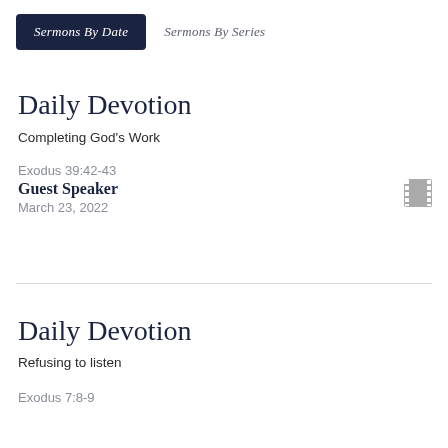Sermons By Date | Sermons By Series
Daily Devotion
Completing God's Work
Exodus 39:42-43
Guest Speaker
March 23, 2022
[Figure (other): Film/video icon (film strip symbol)]
Daily Devotion
Refusing to listen
Exodus 7:8-9